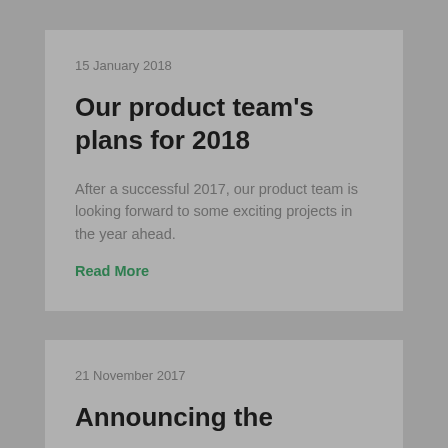15 January 2018
Our product team's plans for 2018
After a successful 2017, our product team is looking forward to some exciting projects in the year ahead.
Read More
21 November 2017
Announcing the